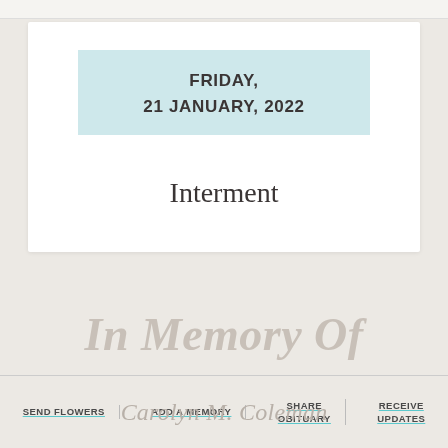FRIDAY,
21 JANUARY, 2022
Interment
In Memory Of
SEND FLOWERS | ADD A MEMORY | SHARE OBITUARY | RECEIVE UPDATES
Carolyn M. Coleman